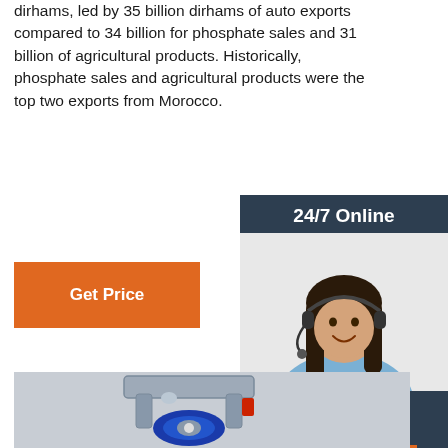dirhams, led by 35 billion dirhams of auto exports compared to 34 billion for phosphate sales and 31 billion of agricultural products. Historically, phosphate sales and agricultural products were the top two exports from Morocco.
[Figure (other): Orange 'Get Price' button]
[Figure (photo): Sidebar advertisement: '24/7 Online' header with photo of a smiling customer service representative wearing a headset, followed by italic text 'Click here for free chat !' and an orange 'QUOTATION' button, all on a dark blue-grey background.]
[Figure (photo): Photo of an industrial blue rubber swivel caster wheel with metal bracket and red accent, on a grey/white background.]